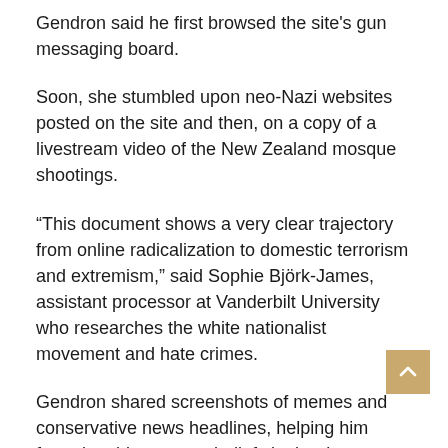Gendron said he first browsed the site's gun messaging board.
Soon, she stumbled upon neo-Nazi websites posted on the site and then, on a copy of a livestream video of the New Zealand mosque shootings.
“This document shows a very clear trajectory from online radicalization to domestic terrorism and extremism,” said Sophie Björk-James, assistant processor at Vanderbilt University who researches the white nationalist movement and hate crimes.
Gendron shared screenshots of memes and conservative news headlines, helping him formulate his extreme beliefs in the document.
“It’s extremely important to take the megaphone away from